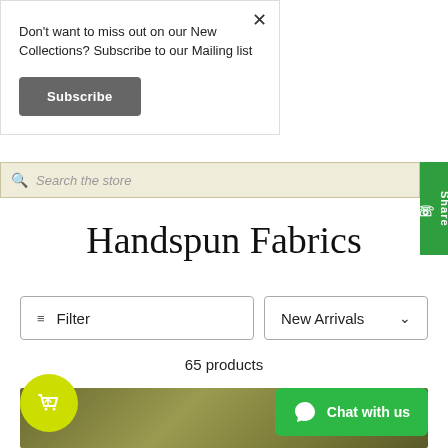Don't want to miss out on our New Collections? Subscribe to our Mailing list
Subscribe
Search the store
Handspun Fabrics
Filter
New Arrivals
65 products
[Figure (photo): Product image of handspun fabric in olive/khaki color]
Share
Chat with us